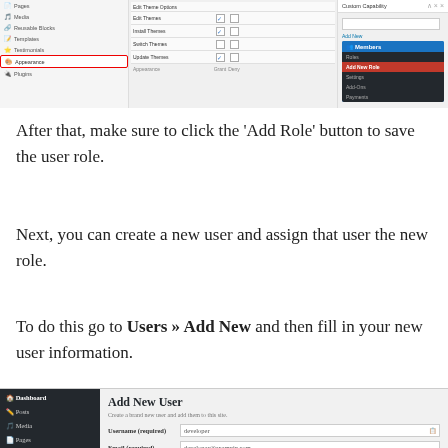[Figure (screenshot): WordPress admin panel showing capability settings with Edit Theme Options, Edit Themes, Install Themes, Switch Themes, Update Themes listed. A Custom Capability panel is open on the right with Members dropdown showing 'Add New Role' highlighted in red.]
After that, make sure to click the ‘Add Role’ button to save the user role.
Next, you can create a new user and assign that user the new role.
To do this go to Users » Add New and then fill in your new user information.
[Figure (screenshot): WordPress 'Add New User' admin screen showing fields for Username (required): developer, Email (required): developer@exampin.com, First Name: WordPress. Dark sidebar shows Dashboard, Posts, Media, Pages, Comments, Appearance, Plugins menu items.]